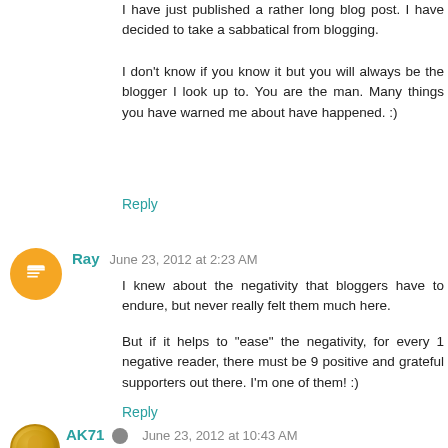I have just published a rather long blog post. I have decided to take a sabbatical from blogging.
I don't know if you know it but you will always be the blogger I look up to. You are the man. Many things you have warned me about have happened. :)
Reply
Ray   June 23, 2012 at 2:23 AM
I knew about the negativity that bloggers have to endure, but never really felt them much here.
But if it helps to "ease" the negativity, for every 1 negative reader, there must be 9 positive and grateful supporters out there. I'm one of them! :)
Reply
AK71   June 23, 2012 at 10:43 AM
Hi Ray,